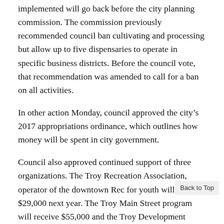implemented will go back before the city planning commission. The commission previously recommended council ban cultivating and processing but allow up to five dispensaries to operate in specific business districts. Before the council vote, that recommendation was amended to call for a ban on all activities.
In other action Monday, council approved the city's 2017 appropriations ordinance, which outlines how money will be spent in city government.
Council also approved continued support of three organizations. The Troy Recreation Association, operator of the downtown Rec for youth will receive $29,000 next year. The Troy Main Street program will receive $55,000 and the Troy Development Council will receive $125,000.
The council discussed the appropriations and the